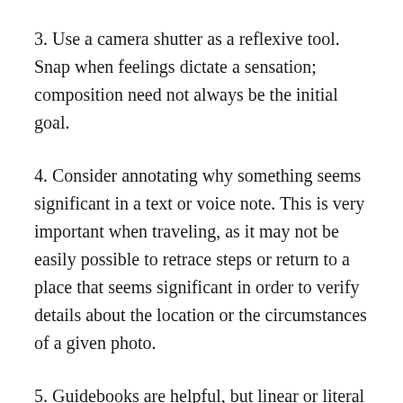3. Use a camera shutter as a reflexive tool. Snap when feelings dictate a sensation; composition need not always be the initial goal.
4. Consider annotating why something seems significant in a text or voice note. This is very important when traveling, as it may not be easily possible to retrace steps or return to a place that seems significant in order to verify details about the location or the circumstances of a given photo.
5. Guidebooks are helpful, but linear or literal travel is not necessarily the most authentic experience. Recall the role of the dérive and Situationist interpretation. If it's safe, follow curiosity— sights and smells. On the